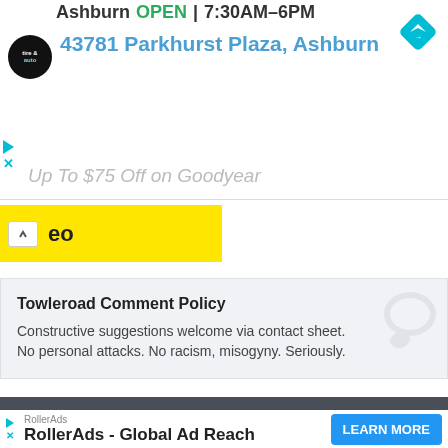[Figure (screenshot): Advertisement for Virginia Tire & Auto in Ashburn showing logo, OPEN status, hours 7:30AM-6PM, address 43781 Parkhurst Plaza Ashburn, navigation diamond icon, and partial text Up To $75 Off on Goodyear]
eo
Towleroad Comment Policy
Constructive suggestions welcome via contact sheet. No personal attacks. No racism, misogyny. Seriously.
Comments for this thread are now closed
RollerAds
RollerAds - Global Ad Reach
LEARN MORE